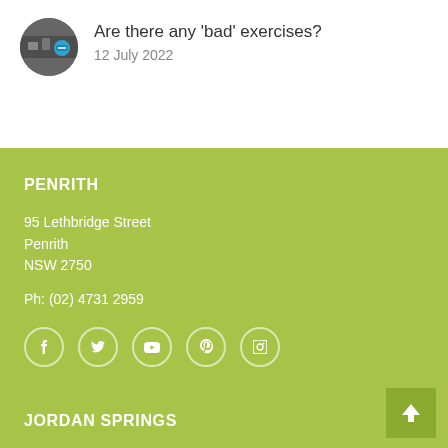[Figure (photo): Circular thumbnail photo of people exercising in a gym]
Are there any 'bad' exercises?
12 July 2022
PENRITH
95 Lethbridge Street
Penrith
NSW 2750
Ph: (02) 4731 2959
[Figure (illustration): Social media icons: Facebook, Twitter, YouTube, Pinterest, Instagram]
JORDAN SPRINGS